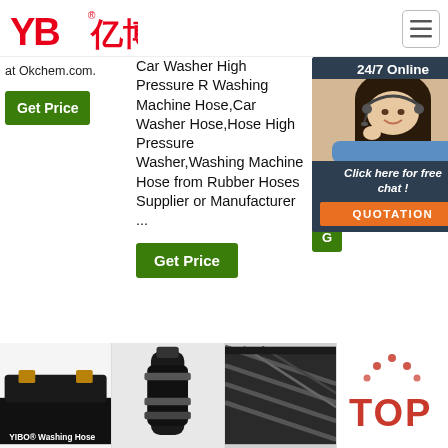[Figure (logo): YB亿博 logo in red]
[Figure (other): Hamburger menu icon button]
at Okchem.com.
Car Washer High Pressure R Washing Machine Hose,Car Washer Hose,Hose High Pressure Washer,Washing Machine Hose from Rubber Hoses Supplier or Manufacturer ...
Nitrile Rubber. Cap... Hyd... Col... Sur... Sur... Gar... Mor... Del...
[Figure (photo): Chat popup with 24/7 Online header, woman with headset, 'Click here for free chat!' text, and QUOTATION button]
Get Price
Get Price
G (Get Price, partially visible)
[Figure (photo): Bottom product images: YIBO Washing Hose product, a black hose fitting, a braided hose, and a TOP badge icon]